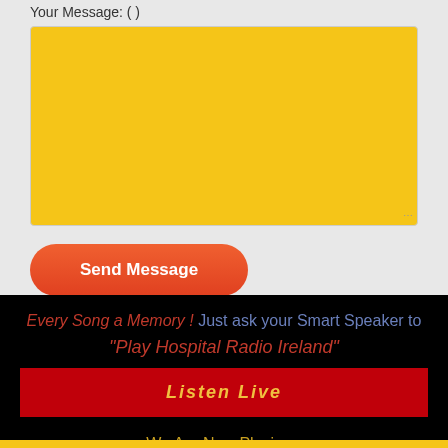Your Message: ( )
[Figure (other): Yellow textarea input box with resize handle at bottom right]
Send Message
Every Song a Memory ! Just ask your Smart Speaker to "Play Hospital Radio Ireland"
Listen Live
We Are Now Playing -